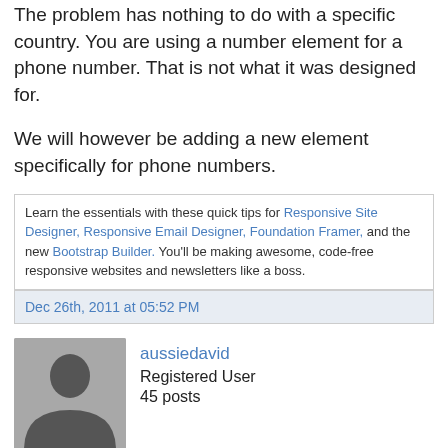The problem has nothing to do with a specific country. You are using a number element for a phone number. That is not what it was designed for.
We will however be adding a new element specifically for phone numbers.
Learn the essentials with these quick tips for Responsive Site Designer, Responsive Email Designer, Foundation Framer, and the new Bootstrap Builder. You'll be making awesome, code-free responsive websites and newsletters like a boss.
Dec 26th, 2011 at 05:52 PM
[Figure (photo): Default user avatar silhouette, gray background]
aussiedavid
Registered User
45 posts
Scott Swedorski wrote: